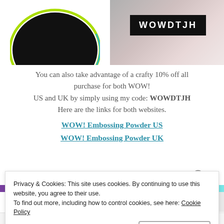[Figure (photo): Left side: partial circular logo with green and teal rim, black fill at bottom. Right side: photo of craft/embossing powder products with a black badge showing 'WOWDTJH' in white letters.]
You can also take advantage of a crafty 10% off all purchase for both WOW!
US and UK by simply using my code: WOWDTJH
Here are the links for both websites.
WOW! Embossing Powder US
WOW! Embossing Powder UK
Sponsored Content
Privacy & Cookies: This site uses cookies. By continuing to use this website, you agree to their use.
To find out more, including how to control cookies, see here: Cookie Policy
Close and accept